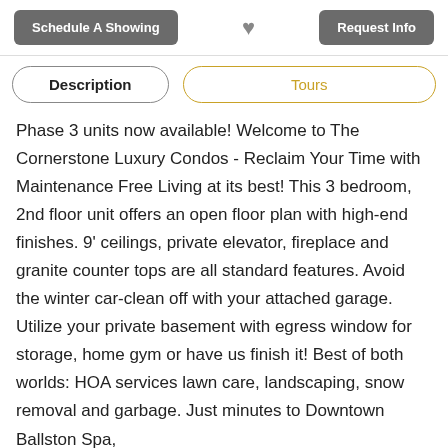Schedule A Showing | [heart] | Request Info
Description | Tours
Phase 3 units now available! Welcome to The Cornerstone Luxury Condos - Reclaim Your Time with Maintenance Free Living at its best! This 3 bedroom, 2nd floor unit offers an open floor plan with high-end finishes. 9' ceilings, private elevator, fireplace and granite counter tops are all standard features. Avoid the winter car-clean off with your attached garage. Utilize your private basement with egress window for storage, home gym or have us finish it! Best of both worlds: HOA services lawn care, landscaping, snow removal and garbage. Just minutes to Downtown Ballston Spa,